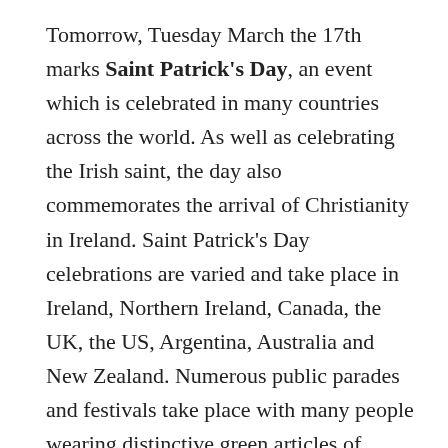Tomorrow, Tuesday March the 17th marks Saint Patrick's Day, an event which is celebrated in many countries across the world. As well as celebrating the Irish saint, the day also commemorates the arrival of Christianity in Ireland. Saint Patrick's Day celebrations are varied and take place in Ireland, Northern Ireland, Canada, the UK, the US, Argentina, Australia and New Zealand. Numerous public parades and festivals take place with many people wearing distinctive green articles of clothing with shamrock symbols as a means of paying homage to Irish culture and heritage. As Lenten restrictions on drinking alcohol come to an end on this date, Saint Patrick's Day has come to be synonymous with a general degree of booziness as well with the custom of consuming several pints